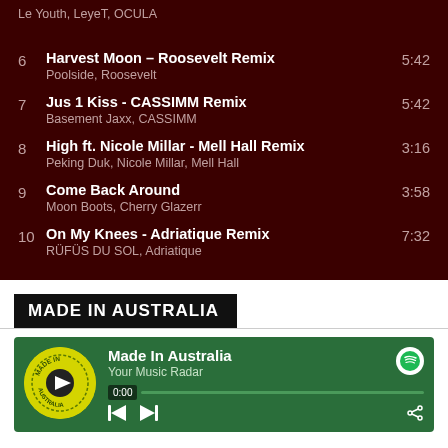Le Youth, LeyeT, OCULA
6  Harvest Moon – Roosevelt Remix  5:42
Poolside, Roosevelt
7  Jus 1 Kiss - CASSIMM Remix  5:42
Basement Jaxx, CASSIMM
8  High ft. Nicole Millar - Mell Hall Remix  3:16
Peking Duk, Nicole Millar, Mell Hall
9  Come Back Around  3:58
Moon Boots, Cherry Glazerr
10  On My Knees - Adriatique Remix  7:32
RÜFÜS DU SOL, Adriatique
MADE IN AUSTRALIA
[Figure (screenshot): Spotify player card for 'Made In Australia' playlist showing album art (yellow circular badge with Made In Australia text), green background, playlist title, Your Music Radar subtitle, 0:00 timer, progress bar, and playback controls with Spotify logo.]